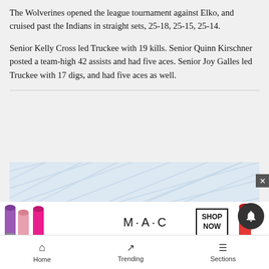The Wolverines opened the league tournament against Elko, and cruised past the Indians in straight sets, 25-18, 25-15, 25-14.
Senior Kelly Cross led Truckee with 19 kills. Senior Quinn Kirschner posted a team-high 42 assists and had five aces. Senior Joy Galles led Truckee with 17 digs, and had five aces as well.
[Figure (other): Advertisement banner placeholder with diagonal line pattern background]
[Figure (other): M·A·C cosmetics advertisement showing lipsticks with SHOP NOW button]
Home  Trending  Sections